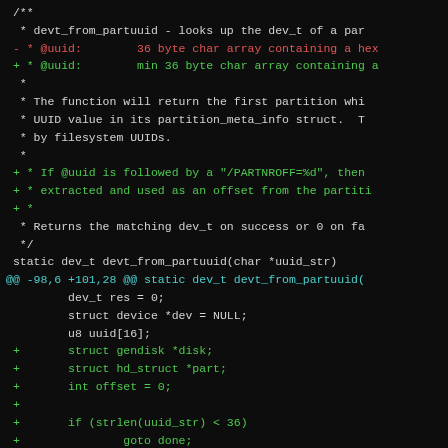[Figure (screenshot): A code diff screenshot on a dark terminal background showing a C source file patch for the devt_from_partuuid function. Lines are colored white for context, red for removed lines (prefixed with -), and green for added lines (prefixed with +). A cyan hunk header line shows @@ -98,6 +101,28 @@ static dev_t devt_from_partuuid(.]